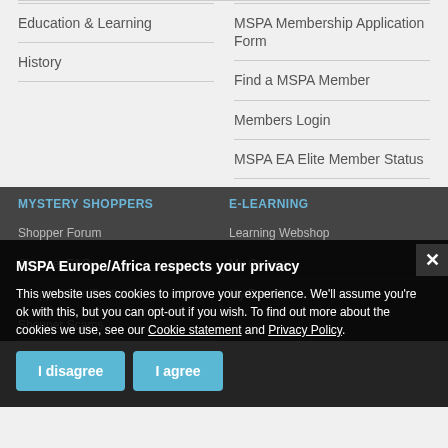Education & Learning
History
MSPA Membership Application Form
Find a MSPA Member
Members Login
MSPA EA Elite Member Status
MYSTERY SHOPPERS
E-LEARNING
Shopper Forum
Learning Webshop
Shopper FAQ
My Courses
Shopper Certification
My Results
Shopper Scams
MSPA Europe/Africa respects your privacy
This website uses cookies to improve your experience. We'll assume you're ok with this, but you can opt-out if you wish. To find out more about the cookies we use, see our Cookie statement and Privacy Policy.